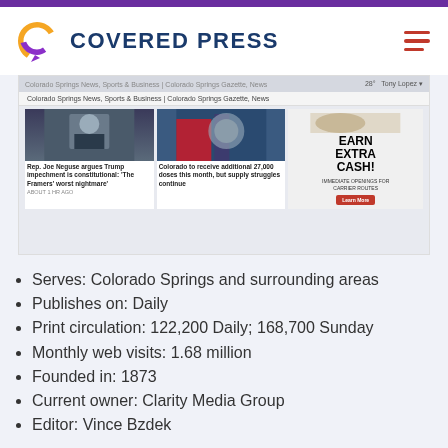COVERED PRESS
[Figure (screenshot): Screenshot of Colorado Springs Gazette website showing news articles: 'Rep. Joe Neguse argues Trump impechment is constitutional: The Framers worst nightmare' and 'Colorado to receive additional 27,000 doses this month, but supply struggles continue', plus an advertisement for 'EARN EXTRA CASH! IMMEDIATE OPENINGS FOR CARRIER ROUTES']
Serves: Colorado Springs and surrounding areas
Publishes on: Daily
Print circulation: 122,200 Daily; 168,700 Sunday
Monthly web visits: 1.68 million
Founded in: 1873
Current owner: Clarity Media Group
Editor: Vince Bzdek